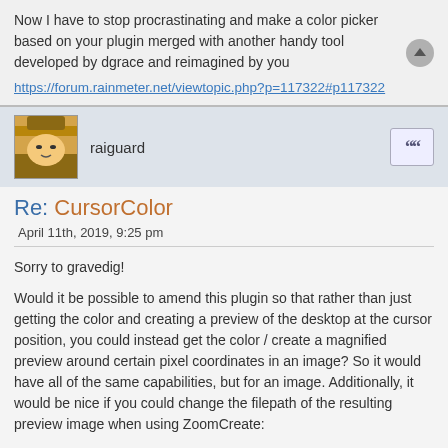Now I have to stop procrastinating and make a color picker based on your plugin merged with another handy tool developed by dgrace and reimagined by you
https://forum.rainmeter.net/viewtopic.php?p=117322#p117322
raiguard
Re: CursorColor
April 11th, 2019, 9:25 pm
Sorry to gravedig!
Would it be possible to amend this plugin so that rather than just getting the color and creating a preview of the desktop at the cursor position, you could instead get the color / create a magnified preview around certain pixel coordinates in an image? So it would have all of the same capabilities, but for an image. Additionally, it would be nice if you could change the filepath of the resulting preview image when using ZoomCreate:
CODE: SELECT ALL
[MeasureCursorColor]